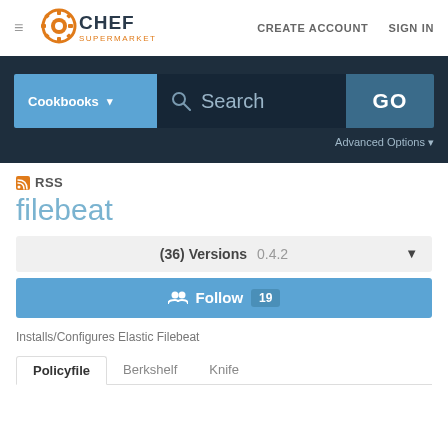[Figure (logo): Chef Supermarket logo with orange gear icon and CHEF SUPERMARKET text]
CREATE ACCOUNT   SIGN IN
[Figure (screenshot): Dark search bar with Cookbooks dropdown, Search input, and GO button, with Advanced Options link]
RSS
filebeat
(36) Versions   0.4.2
Follow  19
Installs/Configures Elastic Filebeat
Policyfile   Berkshelf   Knife